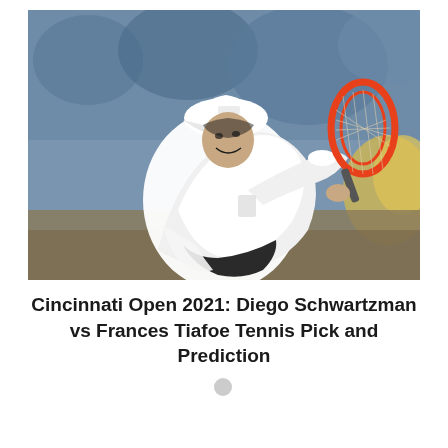[Figure (photo): Tennis player Diego Schwartzman wearing a white cap and white outfit, leaning forward mid-serve or mid-swing, holding a tennis racket with a red/orange frame. Background shows blurred blue stadium seating and yellow elements.]
Cincinnati Open 2021: Diego Schwartzman vs Frances Tiafoe Tennis Pick and Prediction